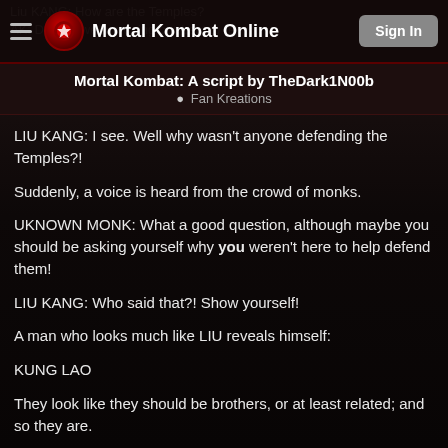Mortal Kombat Online — Sign In
Mortal Kombat: A script by TheDark1N00b
Fan Kreations
LIU KANG: I see. Well why wasn't anyone defending the Temples?!
Suddenly, a voice is heard from the crowd of monks.
UKNOWN MONK: What a good question, although maybe you should be asking yourself why you weren't here to help defend them!
LIU KANG: Who said that?! Show yourself!
A man who looks much like LIU reveals himself:
KUNG LAO
They look like they should be brothers, or at least related; and so they are.